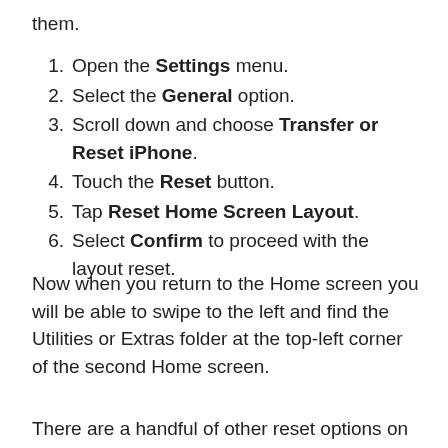them.
Open the Settings menu.
Select the General option.
Scroll down and choose Transfer or Reset iPhone.
Touch the Reset button.
Tap Reset Home Screen Layout.
Select Confirm to proceed with the layout reset.
Now when you return to the Home screen you will be able to swipe to the left and find the Utilities or Extras folder at the top-left corner of the second Home screen.
There are a handful of other reset options on